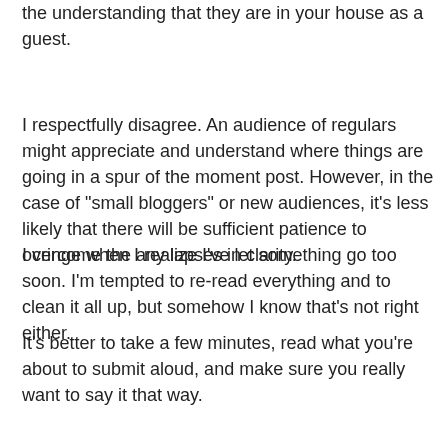the understanding that they are in your house as a guest.
I respectfully disagree. An audience of regulars might appreciate and understand where things are going in a spur of the moment post. However, in the case of "small bloggers" or new audiences, it's less likely that there will be sufficient patience to overcome the any lapses in clarity.
I cringe when I realize I've let something go too soon. I'm tempted to re-read everything and to clean it all up, but somehow I know that's not right either.
It's better to take a few minutes, read what you're about to submit aloud, and make sure you really want to say it that way.
Take the time, it'll help us all out.
Thank you for your time and attention.